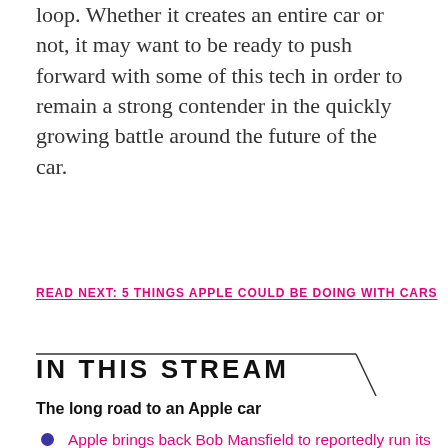loop. Whether it creates an entire car or not, it may want to be ready to push forward with some of this tech in order to remain a strong contender in the quickly growing battle around the future of the car.
READ NEXT: 5 THINGS APPLE COULD BE DOING WITH CARS
IN THIS STREAM
The long road to an Apple car
Apple brings back Bob Mansfield to reportedly run its car project
Apple reportedly hiring car experts for secret project
Apple testing mysterious cars with roof-mounted cameras
VIEW ALL 24 STORIES